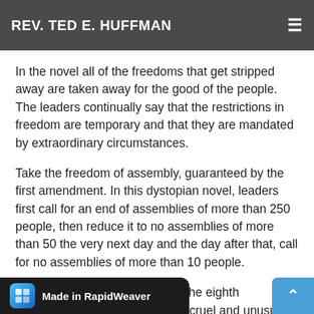REV. TED E. HUFFMAN
In the novel all of the freedoms that get stripped away are taken away for the good of the people. The leaders continually say that the restrictions in freedom are temporary and that they are mandated by extraordinary circumstances.
Take the freedom of assembly, guaranteed by the first amendment. In this dystopian novel, leaders first call for an end of assemblies of more than 250 people, then reduce it to no assemblies of more than 50 the very next day and the day after that, call for no assemblies of more than 10 people.
In the novel, they would ignore the eighth amendment the protection from cruel and unusual punishment. Without any du process, they